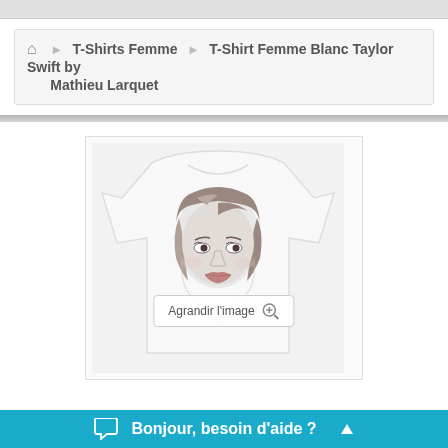T-Shirts Femme > T-Shirt Femme Blanc Taylor Swift by Mathieu Larquet
[Figure (illustration): A white women's t-shirt with a pencil/sketch-style portrait of Taylor Swift printed on the front. The illustration shows her face and hair in black and white with detailed shading.]
Agrandir l'image
Bonjour, besoin d'aide ?